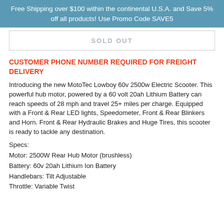Free Shipping over $100 within the continental U.S.A. and Save 5% off all products! Use Promo Code SAVE5
SOLD OUT
CUSTOMER PHONE NUMBER REQUIRED FOR FREIGHT DELIVERY
Introducing the new MotoTec Lowboy 60v 2500w Electric Scooter. This powerful hub motor, powered by a 60 volt 20ah Lithium Battery can reach speeds of 28 mph and travel 25+ miles per charge. Equipped with a Front & Rear LED lights, Speedometer, Front & Rear Blinkers and Horn. Front & Rear Hydraulic Brakes and Huge Tires, this scooter is ready to tackle any destination.
Specs:
Motor: 2500W Rear Hub Motor (brushless)
Battery: 60v 20ah Lithium Ion Battery
Handlebars: Tilt Adjustable
Throttle: Variable Twist